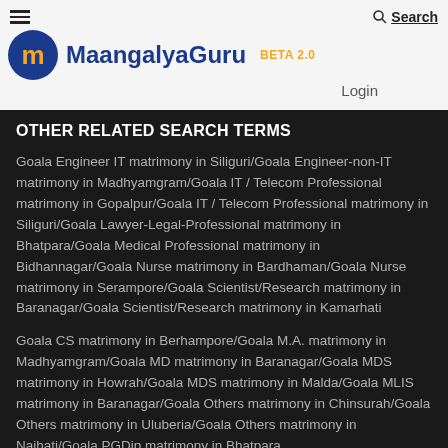MaangalyaGuru BETA 2.0 | Search | Login
OTHER RELATED SEARCH TERMS
Goala Engineer IT matrimony in Siliguri/Goala Engineer-non-IT matrimony in Madhyamgram/Goala IT / Telecom Professional matrimony in Gopalpur/Goala IT / Telecom Professional matrimony in Siliguri/Goala Lawyer-Legal-Professional matrimony in Bhatpara/Goala Medical Professional matrimony in Bidhannagar/Goala Nurse matrimony in Bardhaman/Goala Nurse matrimony in Serampore/Goala Scientist/Research matrimony in Baranagar/Goala Scientist/Research matrimony in Kamarhati
Goala CS matrimony in Berhampore/Goala M.A. matrimony in Madhyamgram/Goala MD matrimony in Baranagar/Goala MDS matrimony in Howrah/Goala MDS matrimony in Malda/Goala MLIS matrimony in Baranagar/Goala Others matrimony in Chinsurah/Goala Others matrimony in Uluberia/Goala Others matrimony in Naihati/Goala PGDip matrimony in Bhatpara
22 Years Goala MPT Grooms in Bally/24 Years Goala Diploma Grooms in Serampore/30 Years Goala Others Grooms in Berhampore/34 Years Goala BBA Grooms in Berhampore/34 Years Goala...